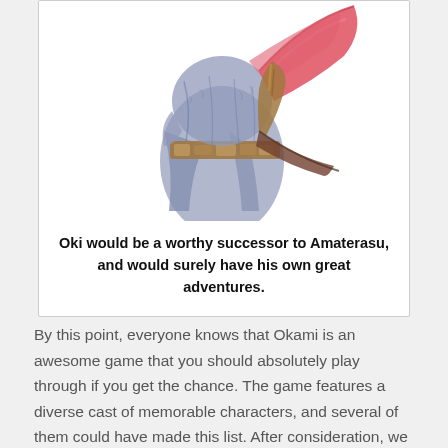[Figure (illustration): Illustrated character (Oki) shown from behind/side, wearing a blue/grey robe with a decorative belt, carrying a large red/pink curved weapon (scythe or axe), with sketchy watercolor-style art.]
Oki would be a worthy successor to Amaterasu, and would surely have his own great adventures.
By this point, everyone knows that Okami is an awesome game that you should absolutely play through if you get the chance. The game features a diverse cast of memorable characters, and several of them could have made this list. After consideration, we ultimately decided that the Oina warrior Oki would best be suited to his own game. With his ability to transform between man and wolf he would be ideal for the type of gameplay mechanics that Okami is known for. Any excuse to return to the world Okami would be welcome, and as much as we love Amaterasu, she might deserve a rest.